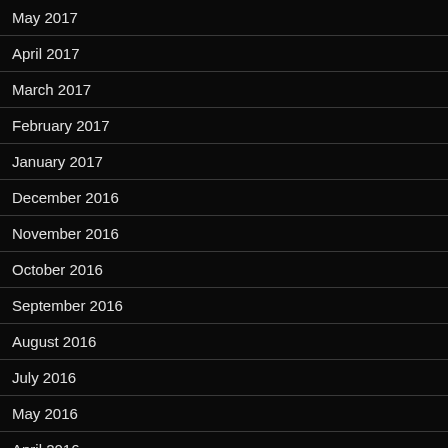May 2017
April 2017
March 2017
February 2017
January 2017
December 2016
November 2016
October 2016
September 2016
August 2016
July 2016
May 2016
April 2016